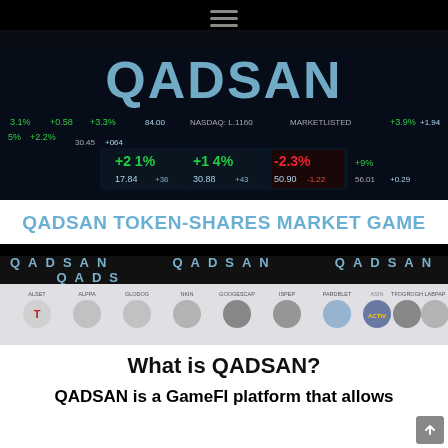[Figure (screenshot): QADSAN logo and stock market ticker board background image with trading data showing percentage changes like +2.1%, +1.4%, -2.3%, prices 17.84, 30.88, 50.90]
QADSAN TOKEN-SHARES MARKET GAME
[Figure (screenshot): QADSAN ticker bar with QADSAN text repeated across dark background]
[Figure (infographic): Token-shares logos grid showing: ALSET (Tesla), ALPPA (Apple), GLODOG (Google), NKIN (Nike), GOOGESCAP (Facebook), ISPEP (Pepsi), PARDBLET (Telegram), ASIN (Visa), TFOGROGH (Microsoft), LABPAP (PayPal) - two rows with small circular icons on top and larger colorful icons below, labeled TESLA, APPLE, GOOGLE, NIKE, FACEBOOK, PEPSI, TELEGRAM, VISA, MICROSOFT, PAYPAL]
What is QADSAN?
QADSAN is a GameFI platform that allows